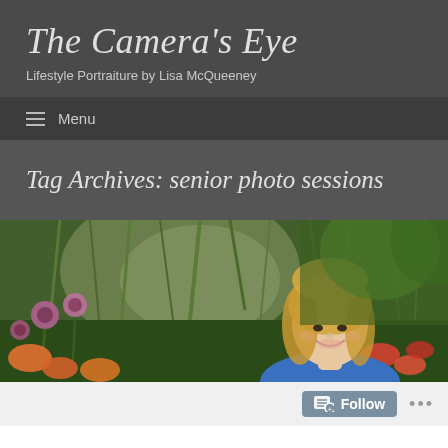The Camera's Eye
Lifestyle Portraiture by Lisa McQueeney
Menu
Tag Archives: senior photo sessions
[Figure (photo): A smiling young blonde woman outdoors in a garden setting with colorful wildflowers including purple coneflowers and orange daylilies, with tall green grasses in the background and bright sunlight.]
Follow